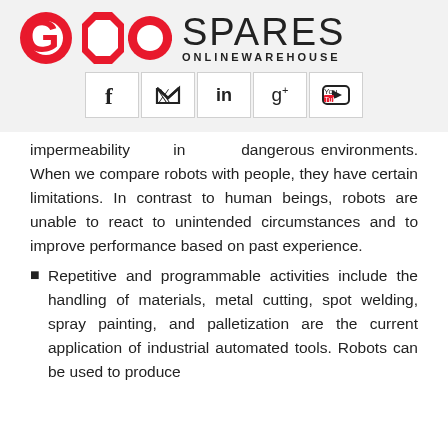[Figure (logo): GOO Spares Online Warehouse logo with red G, red OO shapes, and social media icons (Facebook, Twitter, LinkedIn, Google+, YouTube)]
impermeability in dangerous environments. When we compare robots with people, they have certain limitations. In contrast to human beings, robots are unable to react to unintended circumstances and to improve performance based on past experience.
Repetitive and programmable activities include the handling of materials, metal cutting, spot welding, spray painting, and palletization are the current application of industrial automated tools. Robots can be used to produce